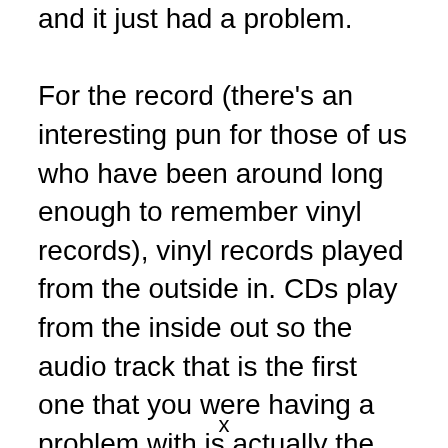and it just had a problem. For the record (there's an interesting pun for those of us who have been around long enough to remember vinyl records), vinyl records played from the outside in. CDs play from the inside out so the audio track that is the first one that you were having a problem with is actually the one that's closest to the center of the disc; so if you're looking for physical deformities or physical issues, a scratch or something else like that, that's the
x